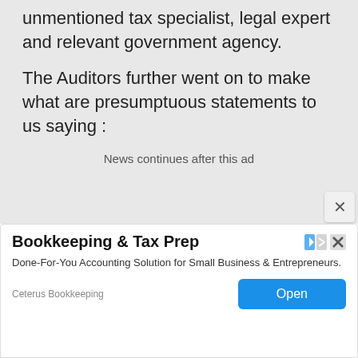unmentioned tax specialist, legal expert and relevant government agency.
The Auditors further went on to make what are presumptuous statements to us saying :
News continues after this ad
[Figure (screenshot): Advertisement banner for Bookkeeping & Tax Prep by Ceterus Bookkeeping. Shows title 'Bookkeeping & Tax Prep', body text 'Done-For-You Accounting Solution for Small Business & Entrepreneurs.', company name 'Ceterus Bookkeeping', and an 'Open' button.]